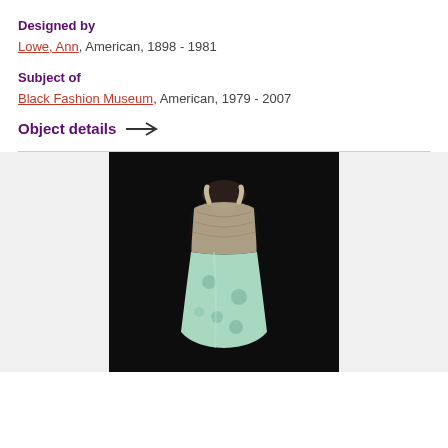Designed by
Lowe, Ann, American, 1898 - 1981
Subject of
Black Fashion Museum, American, 1979 - 2007
Object details →
[Figure (photo): A light mint green sleeveless dress with floral detailing at the bodice displayed on a mannequin against a dark background.]